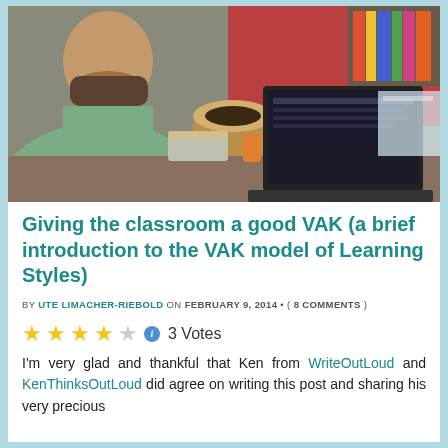[Figure (photo): A bearded man sitting at a desk with a tabla drum, bookshelf with colorful books, and an open laptop visible in the background. The setting appears to be a home office or study room with a red curtain.]
Giving the classroom a good VAK (a brief introduction to the VAK model of Learning Styles)
BY UTE LIMACHER-RIEBOLD ON FEBRUARY 9, 2014 • ( 8 COMMENTS )
3 Votes
I'm very glad and thankful that Ken from WriteOutLoud and KenThinksOutLoud did agree on writing this post and sharing his very precious